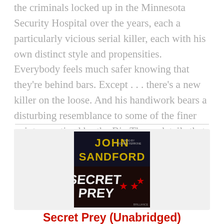the criminals locked up in the Minnesota Security Hospital over the years, each a particularly vicious serial killer, each with his own distinct style and propensities. Everybody feels much safer knowing that they're behind bars. Except . . . there's a new killer on the loose. And his handiwork bears a disturbing resemblance to some of the finer points practiced by the Big Three, details that never even made the papers. Davenport and his team quickly home in on a possible suspect, a man named Charlie Pope, who was released from the same…read more
[Figure (illustration): Book cover for 'Secret Prey' by John Sandford - dark audiobook cover with red stars]
Secret Prey (Unabridged)